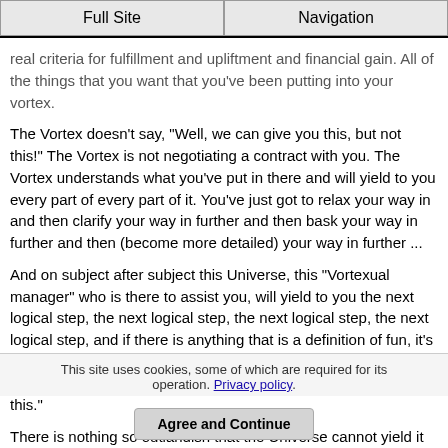Full Site | Navigation
real criteria for fulfillment and upliftment and financial gain. All of the things that you want that you've been putting into your vortex.
The Vortex doesn't say, "Well, we can give you this, but not this!" The Vortex is not negotiating a contract with you. The Vortex understands what you've put in there and will yield to you every part of every part of it. You've just got to relax your way in and then clarify your way in further and then bask your way in further and then (become more detailed) your way in further ...
And on subject after subject this Universe, this "Vortexual manager" who is there to assist you, will yield to you the next logical step, the next logical step, the next logical step, the next logical step, and if there is anything that is a definition of fun, it's got to be that, where the next logical step just says - "How about this, how about this, how about this, how about this, how about this."
There is nothing so outlandish that the Universe cannot yield it to you and "Oh Boy", does that ever get fun!
- Abraham - Panama Cruise 3-13-11
This site uses cookies, some of which are required for its operation. Privacy policy.